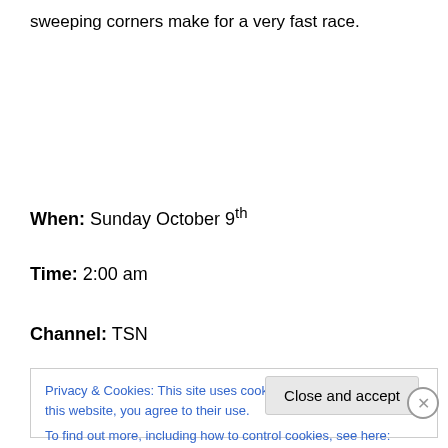sweeping corners make for a very fast race.
When: Sunday October 9th
Time: 2:00 am
Channel: TSN
Privacy & Cookies: This site uses cookies. By continuing to use this website, you agree to their use.
To find out more, including how to control cookies, see here: Cookie Policy